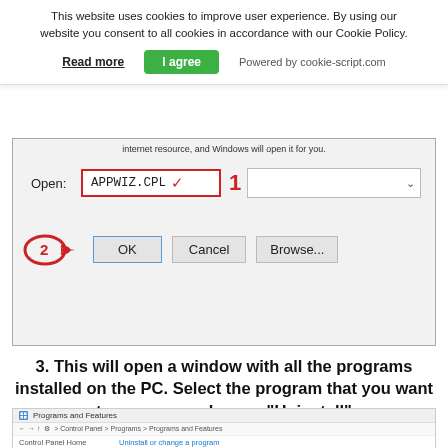This website uses cookies to improve user experience. By using our website you consent to all cookies in accordance with our Cookie Policy.
Read more   I agree   Powered by cookie-script.com
[Figure (screenshot): Windows Run dialog showing APPWIZ.CPL typed in the Open field (step 1 highlighted with red box), and OK button highlighted with a red hand pointer arrow (step 2). Also shows Cancel and Browse buttons.]
3. This will open a window with all the programs installed on the PC. Select the program that you want to remove, and press "Uninstall"
[Figure (screenshot): Programs and Features window in Windows Control Panel showing the address bar with Control Panel > Programs > Programs and Features path, Control Panel Home link on left, and 'Uninstall or change a program' heading on right.]